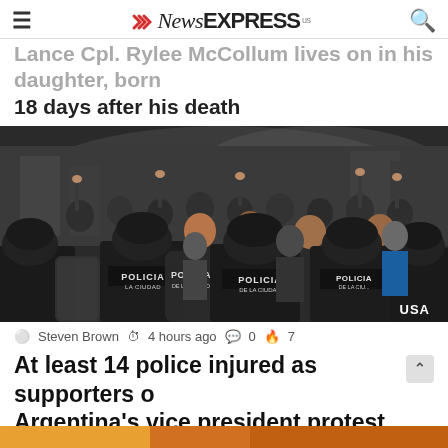NewsEXPRESS US
Lance Cpl. Rylee McCollum lives on in his daughter, born 18 days after his death
[Figure (photo): Crowd of protesters facing riot police wearing 'POLICIA DE LA CIUDAD' gear with shields, in an urban street scene. USA watermark visible in bottom right.]
Steven Brown  4 hours ago  0  7
At least 14 police injured as supporters of Argentina's vice president protest